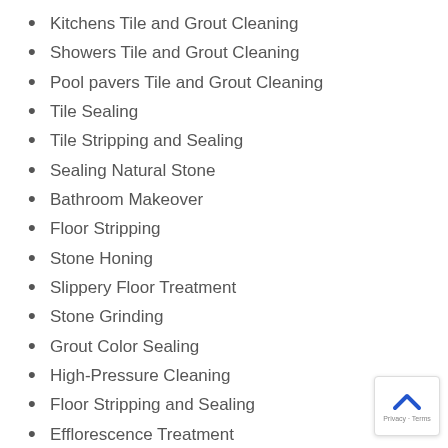Kitchens Tile and Grout Cleaning
Showers Tile and Grout Cleaning
Pool pavers Tile and Grout Cleaning
Tile Sealing
Tile Stripping and Sealing
Sealing Natural Stone
Bathroom Makeover
Floor Stripping
Stone Honing
Slippery Floor Treatment
Stone Grinding
Grout Color Sealing
High-Pressure Cleaning
Floor Stripping and Sealing
Efflorescence Treatment
Kitchen Makeovers
Bathroom Tile Restoration
Floor Stripping and Sealing